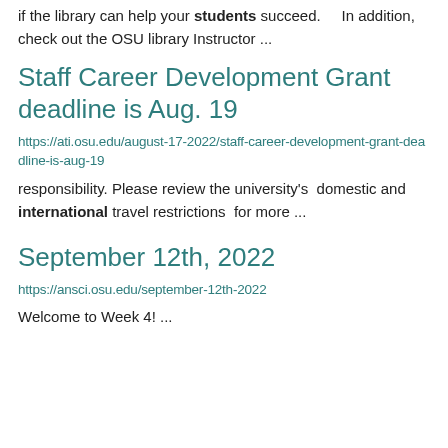if the library can help your students succeed.    In addition, check out the OSU library Instructor ...
Staff Career Development Grant deadline is Aug. 19
https://ati.osu.edu/august-17-2022/staff-career-development-grant-deadline-is-aug-19
responsibility. Please review the university's  domestic and international travel restrictions  for more ...
September 12th, 2022
https://ansci.osu.edu/september-12th-2022
Welcome to Week 4! ...